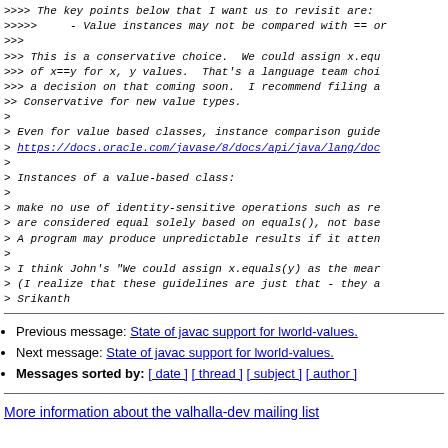>>>> The key points below that I want us to revisit are:
>>>>>    - Value instances may not be compared with == or
>>>
>>> This is a conservative choice.  We could assign x.equ
>>> of x==y for x, y values.  That's a language team choi
>>> a decision on that coming soon.  I recommend filing a
>> Conservative for new value types.
>
> Even for value based classes, instance comparison guide
> https://docs.oracle.com/javase/8/docs/api/java/lang/doc
>
> Instances of a value-based class:
>
> make no use of identity-sensitive operations such as re
> are considered equal solely based on equals(), not base
> A program may produce unpredictable results if it atten
>
> I think John's "We could assign x.equals(y) as the mear
> (I realize that these guidelines are just that - they a
> Srikanth
Previous message: State of javac support for lworld-values.
Next message: State of javac support for lworld-values.
Messages sorted by: [ date ] [ thread ] [ subject ] [ author ]
More information about the valhalla-dev mailing list